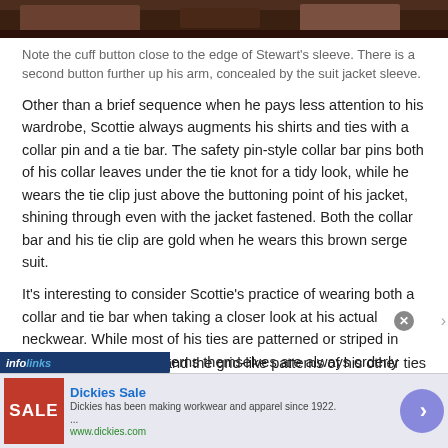[Figure (photo): Partial image strip at top showing a dark brown background, likely a close-up of clothing/sleeve]
Note the cuff button close to the edge of Stewart's sleeve. There is a second button further up his arm, concealed by the suit jacket sleeve.
Other than a brief sequence when he pays less attention to his wardrobe, Scottie always augments his shirts and ties with a collar pin and a tie bar. The safety pin-style collar bar pins both of his collar leaves under the tie knot for a tidy look, while he wears the tie clip just above the buttoning point of his jacket, shining through even with the jacket fastened. Both the collar bar and his tie clip are gold when he wears this brown serge suit.
It's interesting to consider Scottie's practice of wearing both a collar and tie bar when taking a closer look at his actual neckwear. While most of his ties are patterned or striped in multiple colors, the patterns themselves are always orderly and never abstract; the stripes follow a certain repeating
and the grid-like patterns of his other ties could doubly serve
[Figure (screenshot): Advertisement banner: Dickies Sale ad with red SALE box, Dickies logo, description text 'Dickies has been making workwear and apparel since 1922...', www.dickies.com, circular arrow button, close button, infolinks badge]